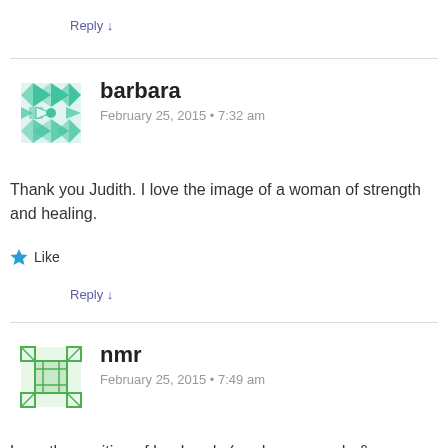Reply ↓
barbara
February 25, 2015 • 7:32 am
Thank you Judith. I love the image of a woman of strength and healing.
★ Like
Reply ↓
nmr
February 25, 2015 • 7:49 am
Love the position of her hands (mudras – varada & vitarka?), echoed in her neck brooch, echoed in her hair.
★ Like
Reply ↓